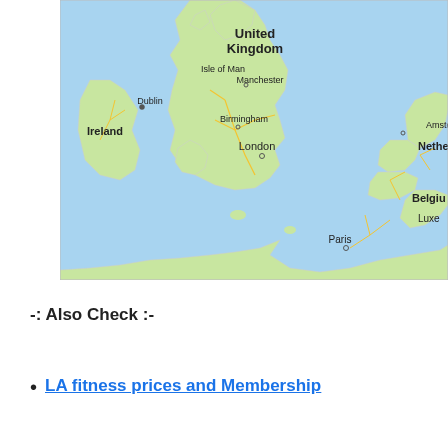[Figure (map): Google Maps screenshot showing United Kingdom, Ireland, Isle of Man, Manchester, Birmingham, London, Dublin, Amsterdam (partial), Netherlands (partial), Belgium (partial), Luxembourg (partial), Paris, and surrounding areas. Blue sea/ocean background with green landmasses and yellow road networks.]
-: Also Check :-
LA fitness prices and Membership